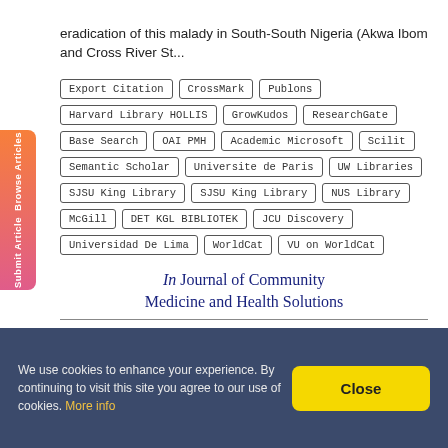eradication of this malady in South-South Nigeria (Akwa Ibom and Cross River St...
Export Citation | CrossMark | Publons | Harvard Library HOLLIS | GrowKudos | ResearchGate | Base Search | OAI PMH | Academic Microsoft | Scilit | Semantic Scholar | Universite de Paris | UW Libraries | SJSU King Library | SJSU King Library | NUS Library | McGill | DET KGL BIBLIOTEK | JCU Discovery | Universidad De Lima | WorldCat | VU on WorldCat
In Journal of Community Medicine and Health Solutions
Browse Articles  Submit Article
We use cookies to enhance your experience. By continuing to visit this site you agree to our use of cookies. More info